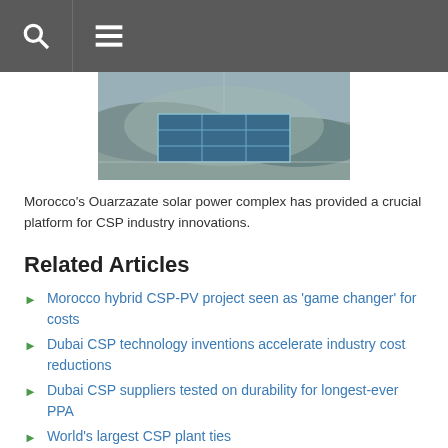[navigation bar with search and menu icons]
[Figure (photo): Aerial photograph of Morocco's Ouarzazate solar power complex showing solar panels and surrounding desert landscape]
Morocco's Ouarzazate solar power complex has provided a crucial platform for CSP industry innovations.
Related Articles
Morocco hybrid CSP-PV project seen as 'game changer' for costs
Dubai CSP technology inventions accelerate industry cost reductions
Dubai CSP suppliers tested on durability for longest-ever PPA
World's largest CSP plant ties